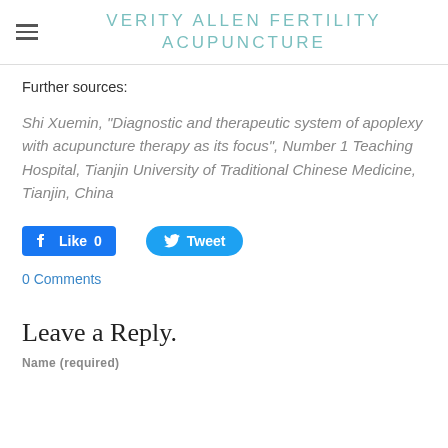VERITY ALLEN FERTILITY ACUPUNCTURE
Further sources:
Shi Xuemin, "Diagnostic and therapeutic system of apoplexy with acupuncture therapy as its focus", Number 1 Teaching Hospital, Tianjin University of Traditional Chinese Medicine, Tianjin, China
[Figure (screenshot): Facebook Like button showing 0 likes and Twitter Tweet button]
0 Comments
Leave a Reply.
Name (required)